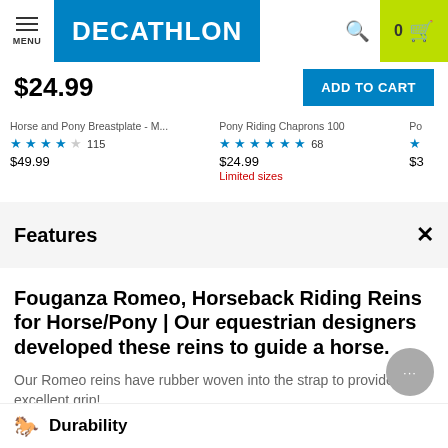[Figure (screenshot): Decathlon website header with menu icon, Decathlon logo in blue, search icon, and shopping cart with 0 items on yellow-green background]
$24.99
ADD TO CART
Horse and Pony Breastplate - M... 115 $49.99
Pony Riding Chaprons 100 68 $24.99 Limited sizes
Features
Fouganza Romeo, Horseback Riding Reins for Horse/Pony | Our equestrian designers developed these reins to guide a horse.
Our Romeo reins have rubber woven into the strap to provide excellent grip!
Durability